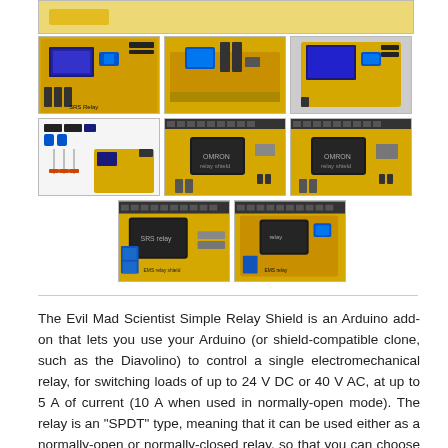[Figure (photo): Top partial banner showing yellow Arduino relay shield PCB]
[Figure (photo): Grid of 8 product photos of the Evil Mad Scientist Simple Relay Shield: assembled boards from various angles, component parts, and close-up views of the relay and connectors on a yellow PCB board]
The Evil Mad Scientist Simple Relay Shield is an Arduino add-on that lets you use your Arduino (or shield-compatible clone, such as the Diavolino) to control a single electromechanical relay, for switching loads of up to 24 V DC or 40 V AC, at up to 5 A of current (10 A when used in normally-open mode). The relay is an "SPDT" type, meaning that it can be used either as a normally-open or normally-closed relay, so that you can choose to